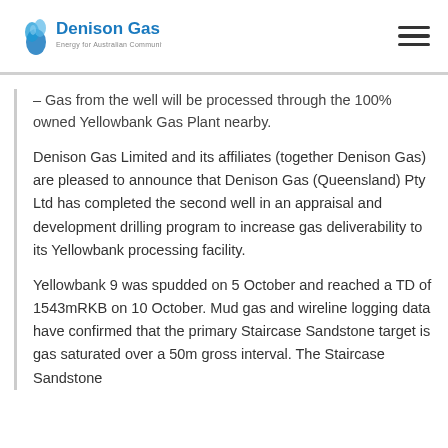Denison Gas
– Gas from the well will be processed through the 100% owned Yellowbank Gas Plant nearby.
Denison Gas Limited and its affiliates (together Denison Gas) are pleased to announce that Denison Gas (Queensland) Pty Ltd has completed the second well in an appraisal and development drilling program to increase gas deliverability to its Yellowbank processing facility.
Yellowbank 9 was spudded on 5 October and reached a TD of 1543mRKB on 10 October. Mud gas and wireline logging data have confirmed that the primary Staircase Sandstone target is gas saturated over a 50m gross interval. The Staircase Sandstone